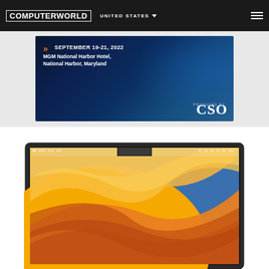COMPUTERWORLD | UNITED STATES
[Figure (screenshot): Computerworld website header with logo, United States region selector, and hamburger menu on dark background]
[Figure (photo): Advertisement banner for security event: SEPTEMBER 19-21, 2022, MGM National Harbor Hotel, National Harbor, Maryland. Produced by CSO. Dark blue background with wave graphics.]
[Figure (photo): MacBook laptop computer showing macOS Ventura wallpaper with orange and yellow abstract wave design, featuring the notch at top center of display]